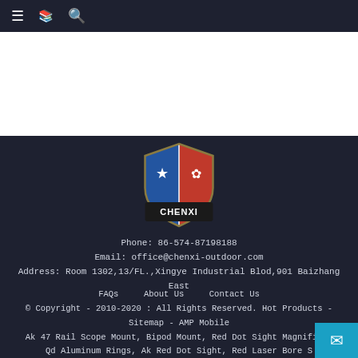≡  [icon]  🔍
[Figure (logo): CHENXI outdoor company shield logo with blue/red segments and star]
Phone: 86-574-87198188
Email: office@chenxi-outdoor.com
Address: Room 1302,13/FL.,Xingye Industrial Blod,901 Baizhang East
FAQs   About Us   Contact Us
© Copyright - 2010-2020 : All Rights Reserved. Hot Products - Sitemap - AMP Mobile
Ak 47 Rail Scope Mount, Bipod Mount, Red Dot Sight Magnifier, Qd Aluminum Rings, Ak Red Dot Sight, Red Laser Bore S... 45colt,